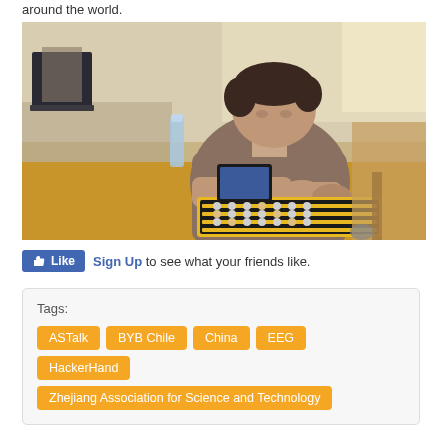around the world.
[Figure (photo): A man sitting at a cluttered desk in a workshop/lab setting, using what appears to be an abacus-style keyboard device, with a laptop and various equipment visible around him.]
Sign Up to see what your friends like.
Tags: ASTalk  BYB Chile  China  EEG  HackerHand  Zhejiang Association for Science and Technology